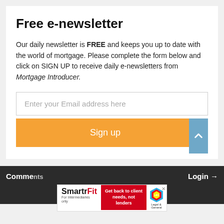Free e-newsletter
Our daily newsletter is FREE and keeps you up to date with the world of mortgage. Please complete the form below and click on SIGN UP to receive daily e-newsletters from Mortgage Introducer.
Enter your Email address here
Sign up
Comments Login
[Figure (screenshot): SmartrFit advertisement banner: 'SmartrFit For Intermediaries only' with red section 'Get back to client needs, not lenders' and Legal & General logo]